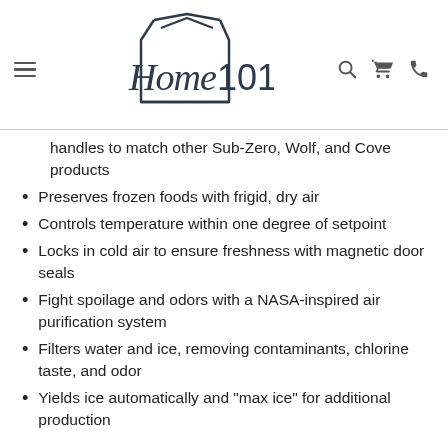Home 101
handles to match other Sub-Zero, Wolf, and Cove products
Preserves frozen foods with frigid, dry air
Controls temperature within one degree of setpoint
Locks in cold air to ensure freshness with magnetic door seals
Fight spoilage and odors with a NASA-inspired air purification system
Filters water and ice, removing contaminants, chlorine taste, and odor
Yields ice automatically and "max ice" for additional production